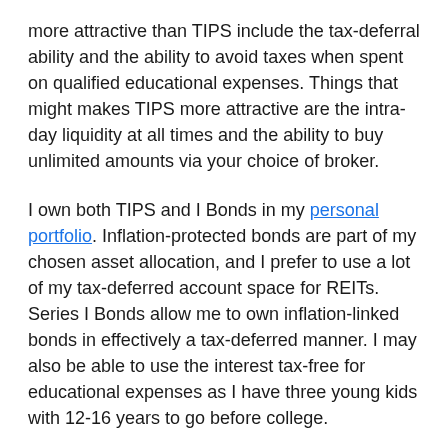more attractive than TIPS include the tax-deferral ability and the ability to avoid taxes when spent on qualified educational expenses. Things that might makes TIPS more attractive are the intra-day liquidity at all times and the ability to buy unlimited amounts via your choice of broker.
I own both TIPS and I Bonds in my personal portfolio. Inflation-protected bonds are part of my chosen asset allocation, and I prefer to use a lot of my tax-deferred account space for REITs. Series I Bonds allow me to own inflation-linked bonds in effectively a tax-deferred manner. I may also be able to use the interest tax-free for educational expenses as I have three young kids with 12-16 years to go before college.
Share this: